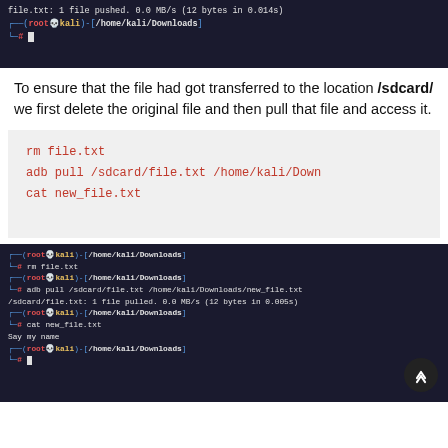[Figure (screenshot): Terminal screenshot showing file push result with root@kali prompt at /home/kali/Downloads]
To ensure that the file had got transferred to the location /sdcard/ we first delete the original file and then pull that file and access it.
[Figure (screenshot): Code block showing: rm file.txt, adb pull /sdcard/file.txt /home/kali/Down..., cat new_file.txt]
[Figure (screenshot): Terminal screenshot showing rm file.txt, adb pull /sdcard/file.txt /home/kali/Downloads/new_file.txt (1 file pulled, 0.0 MB/s, 12 bytes in 0.005s), cat new_file.txt, Say my name, root prompt]